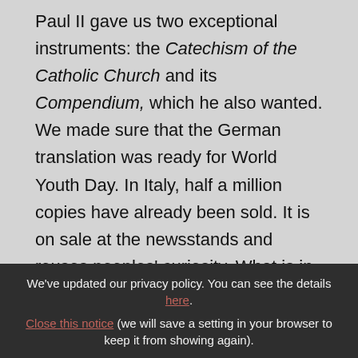Today, in my Homily I noted that Pope John Paul II gave us two exceptional instruments: the Catechism of the Catholic Church and its Compendium, which he also wanted. We made sure that the German translation was ready for World Youth Day. In Italy, half a million copies have already been sold. It is on sale at the newsstands and rouses peoples' curiosity. What is in it? What does the Catholic Church say?
We've updated our privacy policy. You can see the details here. Close this notice (we will save a setting in your browser to keep it from showing again).